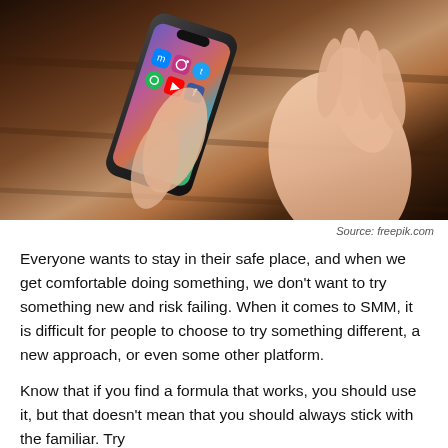[Figure (photo): A hand holding a smartphone displaying social media app icons including Instagram, Twitter, Facebook, Messenger, Spotify, and other apps. The phone is shown against a dark wooden background.]
Source: freepik.com
Everyone wants to stay in their safe place, and when we get comfortable doing something, we don't want to try something new and risk failing. When it comes to SMM, it is difficult for people to choose to try something different, a new approach, or even some other platform.
Know that if you find a formula that works, you should use it, but that doesn't mean that you should always stick with the familiar. Try